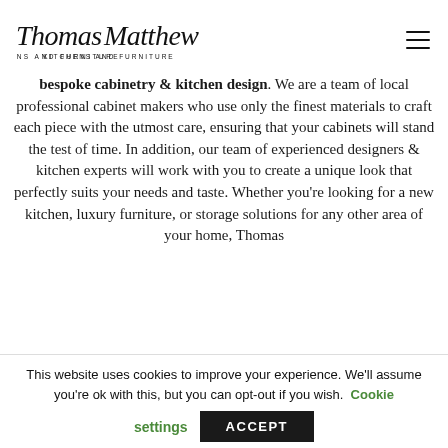[Figure (logo): Thomas Matthew Kitchens and Furniture script logo]
bespoke cabinetry & kitchen design. We are a team of local professional cabinet makers who use only the finest materials to craft each piece with the utmost care, ensuring that your cabinets will stand the test of time. In addition, our team of experienced designers & kitchen experts will work with you to create a unique look that perfectly suits your needs and taste. Whether you're looking for a new kitchen, luxury furniture, or storage solutions for any other area of your home, Thomas
This website uses cookies to improve your experience. We'll assume you're ok with this, but you can opt-out if you wish.
Cookie settings
ACCEPT